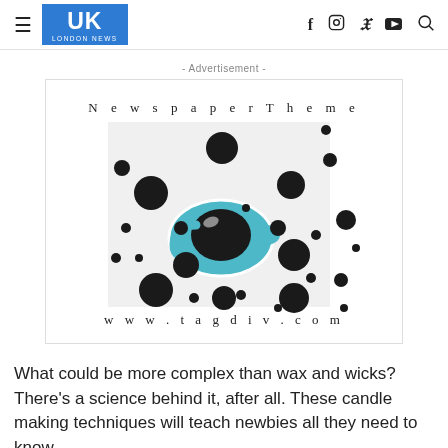UK London News
- Advertisement -
[Figure (illustration): Newspaper Theme advertisement banner showing a blue teapot/cup with black polka dots on a white background, with text 'Newspaper Theme' and 'www.tagdiv.com']
What could be more complex than wax and wicks? There's a science behind it, after all. These candle making techniques will teach newbies all they need to know.